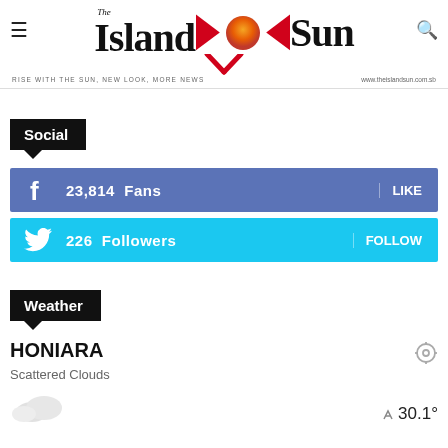[Figure (logo): The Island Sun newspaper logo with red arrows and orange/red sun graphic, tagline: RISE WITH THE SUN, NEW LOOK, MORE NEWS and www.theislandsun.com.sb]
Social
23,814  Fans  LIKE (Facebook)
226  Followers  FOLLOW (Twitter)
Weather
HONIARA
Scattered Clouds
30.1°